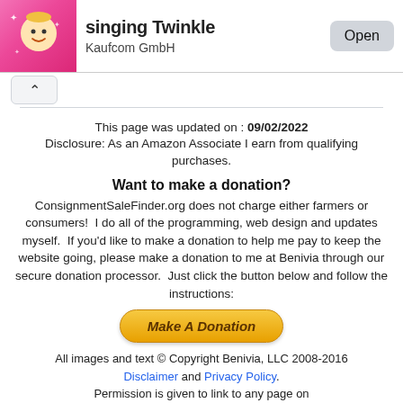[Figure (screenshot): App store banner showing a cartoon character app icon (singing Twinkle), app title 'singing Twinkle', developer 'Kaufcom GmbH', and an 'Open' button]
[Figure (other): Collapse/chevron up arrow button]
This page was updated on : 09/02/2022
Disclosure: As an Amazon Associate I earn from qualifying purchases.
Want to make a donation?
ConsignmentSaleFinder.org does not charge either farmers or consumers!  I do all of the programming, web design and updates myself.  If you'd like to make a donation to help me pay to keep the website going, please make a donation to me at Benivia through our secure donation processor.  Just click the button below and follow the instructions:
[Figure (other): Make A Donation button (yellow/gold styled PayPal-like button)]
All images and text © Copyright Benivia, LLC 2008-2016
Disclaimer and Privacy Policy.
Permission is given to link to any page on
www.ConsignmentSaleFinder.org but NOT to copy content and